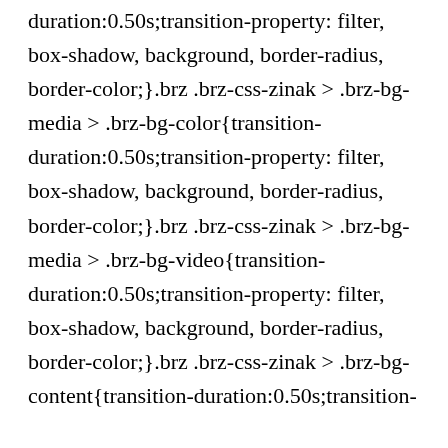duration:0.50s;transition-property: filter, box-shadow, background, border-radius, border-color;}.brz .brz-css-zinak > .brz-bg-media > .brz-bg-color{transition-duration:0.50s;transition-property: filter, box-shadow, background, border-radius, border-color;}.brz .brz-css-zinak > .brz-bg-media > .brz-bg-video{transition-duration:0.50s;transition-property: filter, box-shadow, background, border-radius, border-color;}.brz .brz-css-zinak > .brz-bg-content{transition-duration:0.50s;transition-